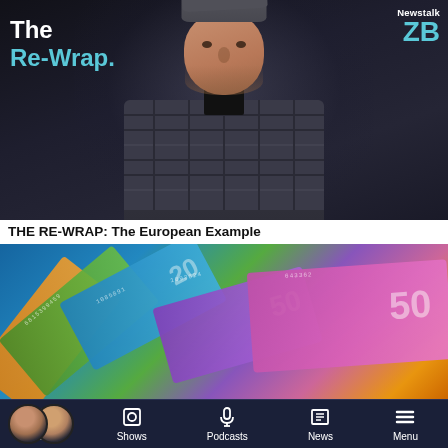[Figure (photo): The Re-Wrap podcast promotional image showing a man in a plaid blazer against a dark background, with 'The Re-Wrap.' text overlay in white and teal, and Newstalk ZB logo in top right]
THE RE-WRAP: The European Example
[Figure (photo): Fan of New Zealand banknotes including $20 and $50 notes spread out]
[Figure (photo): LIVE bar: Two host photos, LIVE badge, 'Listen on iHeart Radio', 'Simon Barnett and James Daniels Afternoons', play button]
Home   Shows   Podcasts   News   Menu